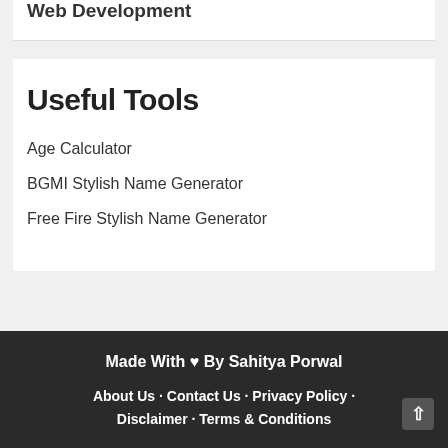Web Development
Useful Tools
Age Calculator
BGMI Stylish Name Generator
Free Fire Stylish Name Generator
Made With ♥ By Sahitya Porwal  About Us · Contact Us · Privacy Policy · Disclaimer · Terms & Conditions